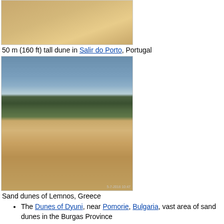[Figure (photo): Top portion of a sandy dune, close-up tan/golden sand color]
50 m (160 ft) tall dune in Salir do Porto, Portugal
[Figure (photo): Sand dunes of Lemnos, Greece - large sandy dune in foreground with green mountains in background, blue sky, timestamp 5-7-2016 10:47]
Sand dunes of Lemnos, Greece
The Dunes of Dyuni, near Pomorie, Bulgaria, vast area of sand dunes in the Burgas Province
The Dune of Pilat, not far from Bordeaux, France, is the largest known sand dune in Europe
The Dunes of Piscinas, in the south west of Sardinia island.
Sands of Forvie within the Ythan Estuary complex, Aberdeenshire, Scotland.
Oxwich Dunes, near Swansea, is on the Gower Peninsula in Wales.
Winterton Dunes – Norfolk, England
Słowiński National Park, Poland
Sand dunes of Lemnos, Lesbos Prefecture, Greece
Akrotiri Sand Dune, Lemesos, Cyprus